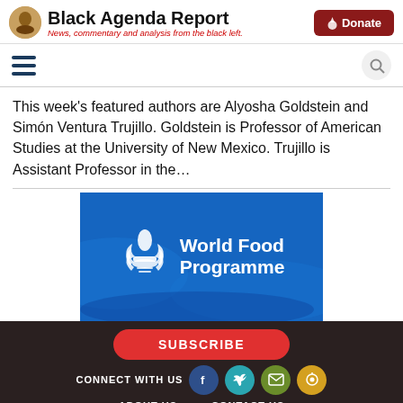Black Agenda Report — News, commentary and analysis from the black left.
This week's featured authors are Alyosha Goldstein and Simón Ventura Trujillo. Goldstein is Professor of American Studies at the University of New Mexico. Trujillo is Assistant Professor in the...
[Figure (photo): World Food Programme banner — blue banner with WFP logo (wheat and olive branches) and text 'World Food Programme' in white.]
SUBSCRIBE | CONNECT WITH US | ABOUT US | CONTACT US